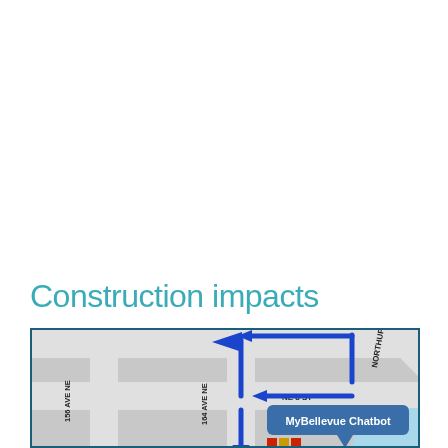Construction impacts
[Figure (map): Street map showing construction detour route in Bellevue, WA. Blue arrows indicate traffic detour path along NE 8 ST, 164 AVE NE, and connecting streets. Roads labeled include 156 AVE NE, 164 AVE NE, NE 8 ST, and NORTHUP. A blue tooltip/callout reads 'MyBellevue Chatbot'. Map background is gray with white road lines and a blue water area in the lower right.]